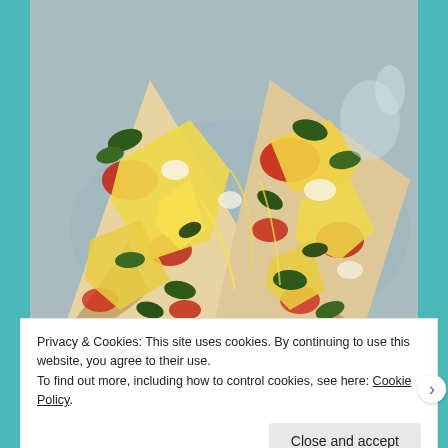[Figure (photo): Two slices of spinach and tomato pizza with melted cheese on a light blue plate, photographed from above at an angle.]
Privacy & Cookies: This site uses cookies. By continuing to use this website, you agree to their use.
To find out more, including how to control cookies, see here: Cookie Policy
Close and accept